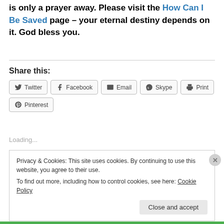is only a prayer away. Please visit the How Can I Be Saved page – your eternal destiny depends on it. God bless you.
Share this:
Twitter | Facebook | Email | Skype | Print | Pinterest
Loading...
Privacy & Cookies: This site uses cookies. By continuing to use this website, you agree to their use. To find out more, including how to control cookies, see here: Cookie Policy
Close and accept